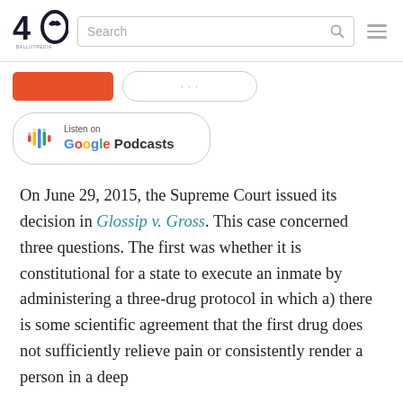[Figure (logo): 40 with bird logo and tagline, website navigation header with search box and hamburger menu]
[Figure (screenshot): Row with orange button and outlined pill-shaped button partially visible]
[Figure (logo): Listen on Google Podcasts badge with colorful bar icon]
On June 29, 2015, the Supreme Court issued its decision in Glossip v. Gross. This case concerned three questions. The first was whether it is constitutional for a state to execute an inmate by administering a three-drug protocol in which a) there is some scientific agreement that the first drug does not sufficiently relieve pain or consistently render a person in a deep state of unconsciousness, and b) the state is